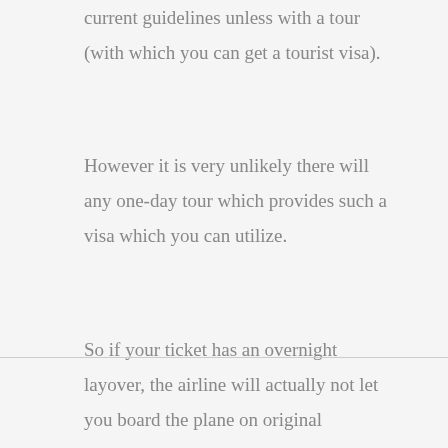current guidelines unless with a tour (with which you can get a tourist visa).
However it is very unlikely there will any one-day tour which provides such a visa which you can utilize.
So if your ticket has an overnight layover, the airline will actually not let you board the plane on original departure, even though they sold it to you knowing this. Apparently its your responsibility to realize this.